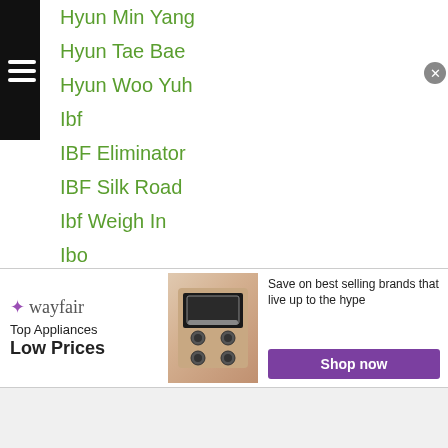Hyun Min Yang
Hyun Tae Bae
Hyun Woo Yuh
Ibf
IBF Eliminator
IBF Silk Road
Ibf Weigh In
Ibo
Ibragim Iskandarov
Ichitaro Ishii
Ifba
I Hoon Jung
Ikboljon Kholdarov
Ikki Kotsugai
Ikuro Sadatsune
Ik Yang
Kim
[Figure (screenshot): Wayfair advertisement banner: Top Appliances Low Prices with a stove image and Shop now button. Infolinks bar visible at top-left of ad.]